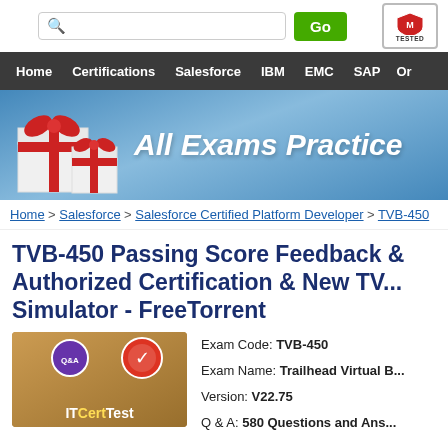Search bar with Go button and McAfee TESTED badge
Home | Certifications | Salesforce | IBM | EMC | SAP | Or...
[Figure (illustration): All Exams Practice banner with gift boxes and blue gradient background]
Home > Salesforce > Salesforce Certified Platform Developer > TVB-450
TVB-450 Passing Score Feedback & Authorized Certification & New TV... Simulator - FreeTorrent
[Figure (photo): ITCertTest product box with badge icons]
Exam Code: TVB-450
Exam Name: Trailhead Virtual B...
Version: V22.75
Q & A: 580 Questions and Ans...